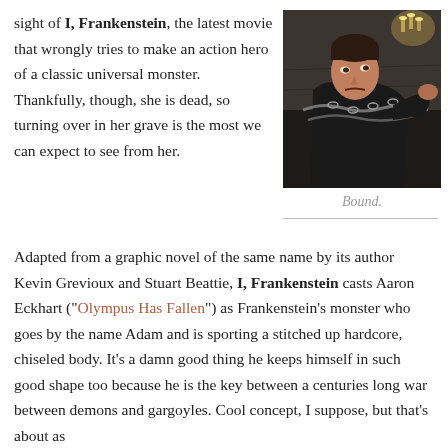sight of I, Frankenstein, the latest movie that wrongly tries to make an action hero of a classic universal monster. Thankfully, though, she is dead, so turning over in her grave is the most we can expect to see from her.
[Figure (photo): A male actor in a dark jacket, chained, looking to the side in a dramatic scene from the movie I, Frankenstein]
Bound.
Adapted from a graphic novel of the same name by its author Kevin Grevioux and Stuart Beattie, I, Frankenstein casts Aaron Eckhart (“Olympus Has Fallen”) as Frankenstein’s monster who goes by the name Adam and is sporting a stitched up hardcore, chiseled body. It’s a damn good thing he keeps himself in such good shape too because he is the key between a centuries long war between demons and gargoyles. Cool concept, I suppose, but that’s about as